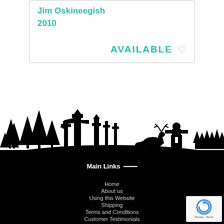Jim Oskineegish
2010
AVAILABLE
[Figure (illustration): Black silhouette panorama of a Canadian landscape featuring evergreen trees, totem poles, a moose, an inukshuk stone figure, and a row of trees in the background against a white sky.]
Main Links
Home
About us
Using this Website
Shipping
Terms and Conditions
Customer Testimonials